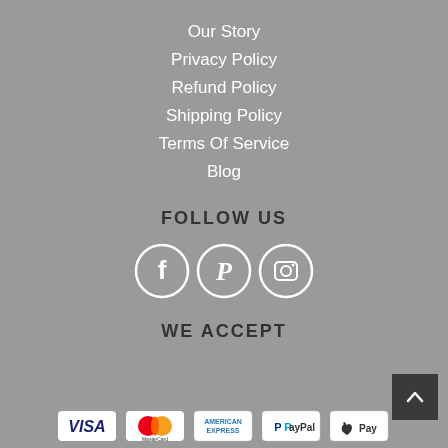Our Story
Privacy Policy
Refund Policy
Shipping Policy
Terms Of Service
Blog
FOLLOW US
[Figure (infographic): Three circular social media icons: Facebook (f), Pinterest (P), Instagram (camera icon), all white outlines on grey background]
WE ACCEPT
[Figure (infographic): Payment method logos: VISA, MasterCard, American Express, PayPal, Apple Pay]